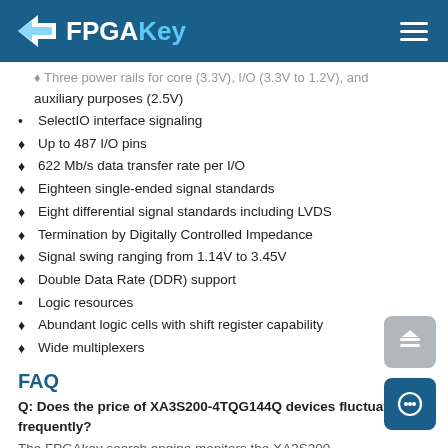FPGAKey
Three power rails for core (3.3V), I/O (3.3V to 1.2V), and auxiliary purposes (2.5V)
SelectIO interface signaling
Up to 487 I/O pins
622 Mb/s data transfer rate per I/O
Eighteen single-ended signal standards
Eight differential signal standards including LVDS
Termination by Digitally Controlled Impedance
Signal swing ranging from 1.14V to 3.45V
Double Data Rate (DDR) support
Logic resources
Abundant logic cells with shift register capability
Wide multiplexers
FAQ
Q: Does the price of XA3S200-4TQG144Q devices fluctuate frequently?
The FPGAkey search engine monitors the XA3S200